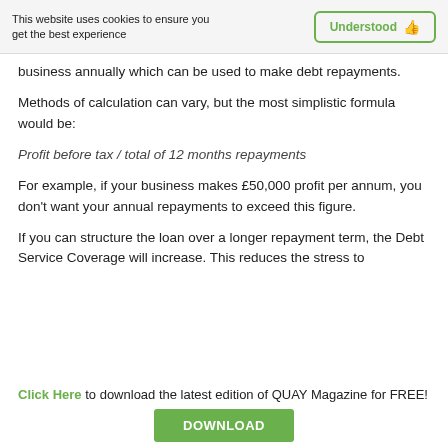This website uses cookies to ensure you get the best experience | Understood 👍
business annually which can be used to make debt repayments.
Methods of calculation can vary, but the most simplistic formula would be:
For example, if your business makes £50,000 profit per annum, you don't want your annual repayments to exceed this figure.
If you can structure the loan over a longer repayment term, the Debt Service Coverage will increase. This reduces the stress to
Click Here to download the latest edition of QUAY Magazine for FREE!
DOWNLOAD